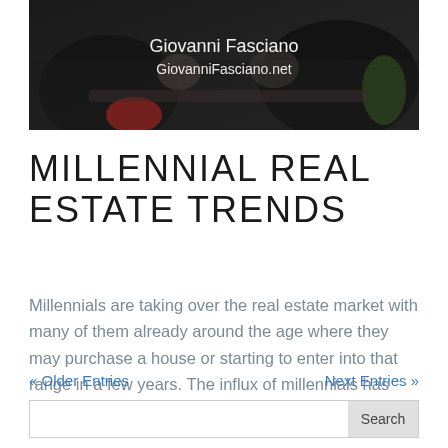[Figure (photo): Dark photo of people sitting around a table in an office or meeting setting, with white text overlay reading 'Giovanni Fasciano' and 'GiovanniFasciano.net']
MILLENNIAL REAL ESTATE TRENDS
Millennials are taking over the real estate market with many of them already around the age where they may purchase a house or starting to enter into that range in a few years. The influx of millennials has called for the housing market to change drastically....
« Older Entries    Next Entries »